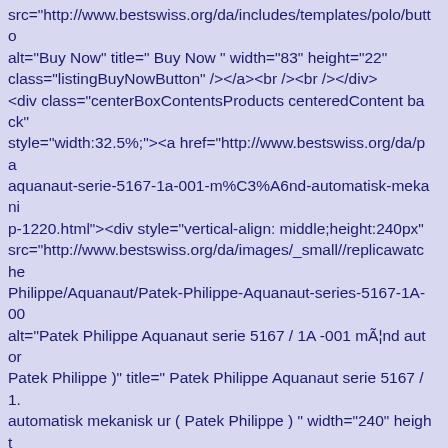src="http://www.bestswiss.org/da/includes/templates/polo/butto alt="Buy Now" title=" Buy Now " width="83" height="22" class="listingBuyNowButton" /></a><br /><br /></div> <div class="centerBoxContentsProducts centeredContent back" style="width:32.5%;"><a href="http://www.bestswiss.org/da/pa aquanaut-serie-5167-1a-001-m%C3%A6nd-automatisk-mekani p-1220.html"><div style="vertical-align: middle;height:240px" src="http://www.bestswiss.org/da/images/_small//replicawatche Philippe/Aquanaut/Patek-Philippe-Aquanaut-series-5167-1A-00 alt="Patek Philippe Aquanaut serie 5167 / 1A -001 mÃ¦nd autor Patek Philippe )" title=" Patek Philippe Aquanaut serie 5167 / 1. automatisk mekanisk ur ( Patek Philippe ) " width="240" height class="listingProductImage" id="listimg" /></div></a><br /><b class="itemTitle"><a href="http://www.bestswiss.org/da/patek- serie-5167-1a-001-m%C3%A6nd-automatisk-mekanisk-ur-pate 1220.html">Patek Philippe Aquanaut serie 5167 / 1A -001 mÃ¦r mekanisk ur ( Patek Philippe )</a></h3><div class="listingDes /><span class="normalprice">DKK 1,916 </span>&nbsp;<spar class="productSpecialPrice">DKK 1,764</span><span class="productPriceDiscount"><br />Spar:&nbsp;8% off</span href="http://www.bestswiss.org/da/patek-philippe-c-134.html? products_id=1220&action=buy_now&sort=20a"><img src="http://www.bestswiss.org/da/includes/templates/polo/butto alt="Buy Now" title=" Buy Now " width="83" height="22" class="listingBuyNowButton" /></a><br /><br /></div>